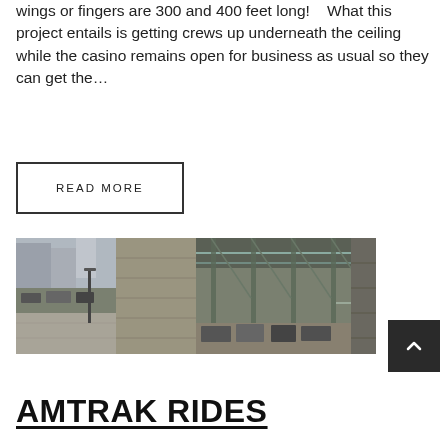wings or fingers are 300 and 400 feet long!    What this project entails is getting crews up underneath the ceiling while the casino remains open for business as usual so they can get the…
READ MORE
[Figure (photo): Two side-by-side photos: left shows a concrete building exterior beside a street with cars and a lamp post; right shows a covered outdoor walkway or platform area with metal framework and parked cars visible.]
AMTRAK RIDES